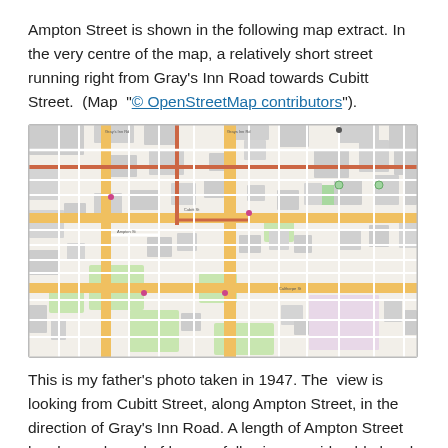Ampton Street is shown in the following map extract. In the very centre of the map, a relatively short street running right from Gray's Inn Road towards Cubitt Street.  (Map  "© OpenStreetMap contributors").
[Figure (map): OpenStreetMap extract showing Ampton Street in the centre, a short street running from Gray's Inn Road towards Cubitt Street, London.]
This is my father's photo taken in 1947. The  view is looking from Cubitt Street, along Ampton Street, in the direction of Gray's Inn Road. A length of Ampton Street has been cleared of houses following considerable bomb damage.